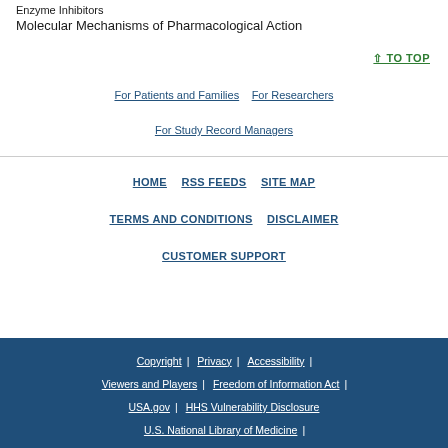Enzyme Inhibitors
Molecular Mechanisms of Pharmacological Action
↑ TO TOP
For Patients and Families | For Researchers | For Study Record Managers
HOME | RSS FEEDS | SITE MAP | TERMS AND CONDITIONS | DISCLAIMER | CUSTOMER SUPPORT
Copyright | Privacy | Accessibility | Viewers and Players | Freedom of Information Act | USA.gov | HHS Vulnerability Disclosure | U.S. National Library of Medicine